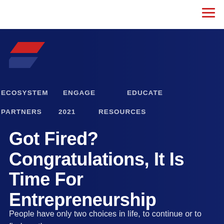≡
[Figure (logo): Stylized logo with two diagonal parallelogram stripes — top stripe in red, bottom stripe in dark blue/navy — resembling stacked forward slashes]
ECOSYSTEM   ENGAGE   EDUCATE
PARTNERS   2021   RESOURCES
Got Fired? Congratulations, It Is Time For Entrepreneurship
People have only two choices in life, to continue or to find another way.